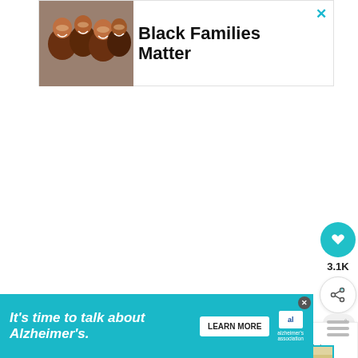[Figure (infographic): Advertisement banner with photo of smiling Black family (four faces) on left, and bold text 'Black Families Matter' on right, with teal X close button in top-right corner]
Black Families Matter
[Figure (infographic): Teal circular heart/like button showing 3.1K likes, and a share button below it, and a more options button]
3.1K
[Figure (infographic): What's Next panel showing thumbnail of yellow squash tots dish with label 'WHAT'S NEXT →' and title 'Yellow Squash Tots with...']
WHAT'S NEXT →
Yellow Squash Tots with...
[Figure (photo): Partial image of a baked dish with white drizzle/icing visible at bottom of page]
[Figure (infographic): Alzheimer's Association advertisement banner in teal: 'It's time to talk about Alzheimer's.' with LEARN MORE button and association logo]
It's time to talk about Alzheimer's.